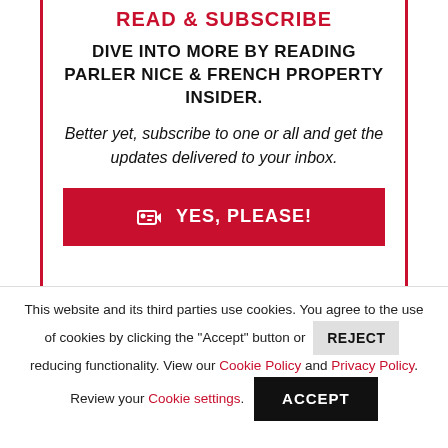READ & SUBSCRIBE
DIVE INTO MORE BY READING PARLER NICE & FRENCH PROPERTY INSIDER.
Better yet, subscribe to one or all and get the updates delivered to your inbox.
YES, PLEASE!
This website and its third parties use cookies. You agree to the use of cookies by clicking the "Accept" button or REJECT reducing functionality. View our Cookie Policy and Privacy Policy. Review your Cookie settings.
ACCEPT